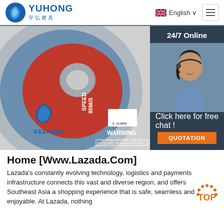YUHONG 宇弘磨具 | English | Navigation menu
[Figure (photo): Red and silver Keendee cutting/grinding wheel with warning label showing SPEED 80M/S and safety instructions. Partially overlapped by a 24/7 online customer service chat widget showing a smiling woman with a headset, 'Click here for free chat!' text, and an orange QUOTATION button.]
Home [Www.Lazada.Com]
Lazada's constantly evolving technology, logistics and payments infrastructure connects this vast and diverse region, and offers Southeast Asia a shopping experience that is safe, seamless and enjoyable. At Lazada, nothing